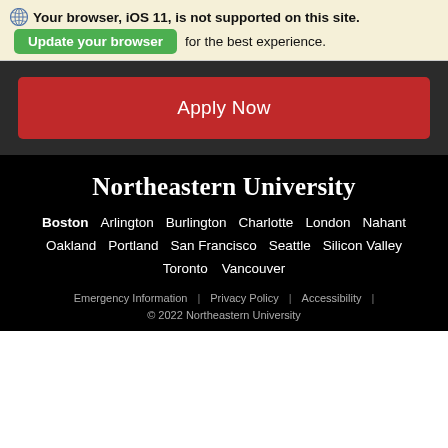Your browser, iOS 11, is not supported on this site.
Update your browser for the best experience.
Apply Now
Northeastern University
Boston  Arlington  Burlington  Charlotte  London  Nahant  Oakland  Portland  San Francisco  Seattle  Silicon Valley  Toronto  Vancouver
Emergency Information  |  Privacy Policy  |  Accessibility  |
© 2022 Northeastern University